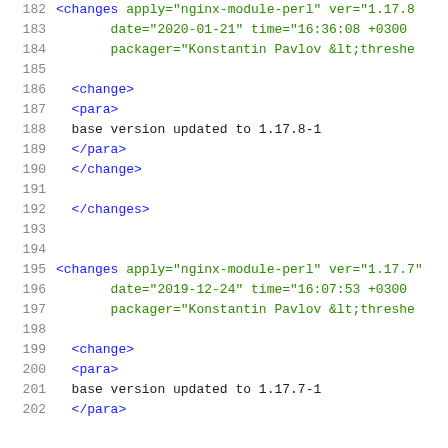[Figure (screenshot): Source code viewer showing XML/changelog content with line numbers 182-202. Green text for XML tag attributes, blue text for XML tags, black text for plain content.]